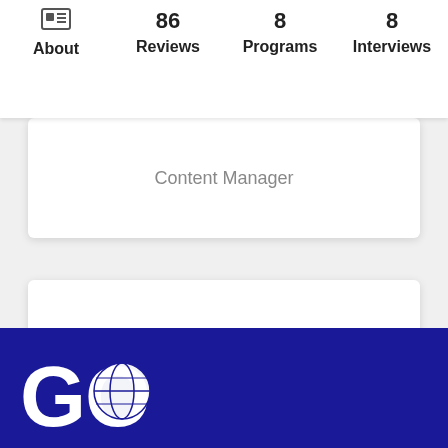About | 86 Reviews | 8 Programs | 8 Interviews
Content Manager
Ariella Neumann
[Figure (logo): GO with globe icon logo on dark blue background]